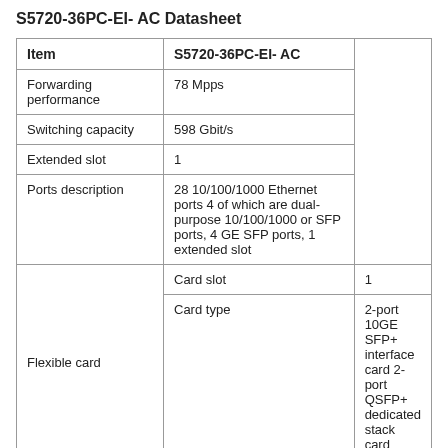S5720-36PC-EI- AC Datasheet
| Item | S5720-36PC-EI- AC |
| --- | --- |
| Forwarding performance | 78 Mpps |
| Switching capacity | 598 Gbit/s |
| Extended slot | 1 |
| Ports description | 28 10/100/1000 Ethernet ports 4 of which are dual-purpose 10/100/1000 or SFP ports, 4 GE SFP ports, 1 extended slot |
| Flexible card / Card slot | 1 |
| Flexible card / Card type | 2-port 10GE SFP+ interface card 2-port QSFP+ dedicated stack card |